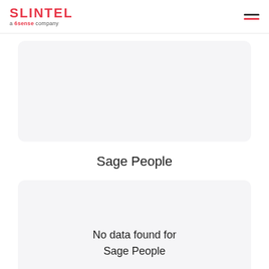SLINTEL a 6sense company
[Figure (other): Empty card/placeholder box with light gray background]
Sage People
[Figure (other): Empty card/placeholder box with light gray background and 'No data found for Sage People' message]
No data found for Sage People